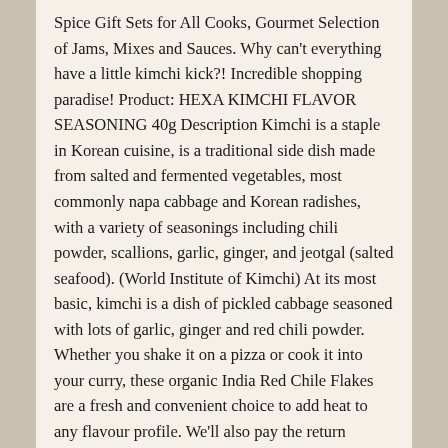Spice Gift Sets for All Cooks, Gourmet Selection of Jams, Mixes and Sauces. Why can't everything have a little kimchi kick?! Incredible shopping paradise! Product: HEXA KIMCHI FLAVOR SEASONING 40g Description Kimchi is a staple in Korean cuisine, is a traditional side dish made from salted and fermented vegetables, most commonly napa cabbage and Korean radishes, with a variety of seasonings including chili powder, scallions, garlic, ginger, and jeotgal (salted seafood). (World Institute of Kimchi) At its most basic, kimchi is a dish of pickled cabbage seasoned with lots of garlic, ginger and red chili powder. Whether you shake it on a pizza or cook it into your curry, these organic India Red Chile Flakes are a fresh and convenient choice to add heat to any flavour profile. We'll also pay the return shipping costs if the return is a result of our error (you received an incorrect or defective item, etc.) Kimchi Spice makes creating your own authentically flavored, homemade kimchi easier than ever before. $9.99$9.99 ($2.50/Ounce) Save more with Subscribe & Save. It's RM 18.80 for a packet (500g). Your selected delivery location is beyond